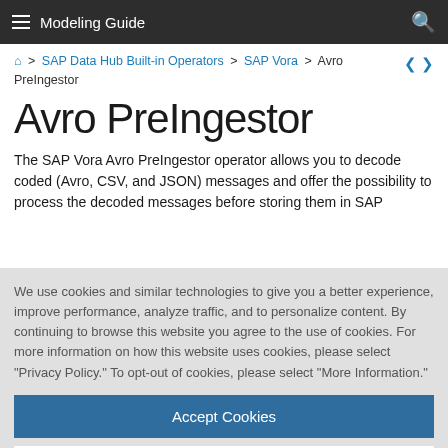Modeling Guide
Home > SAP Data Hub Built-in Operators > SAP Vora > Avro PreIngestor
Avro PreIngestor
The SAP Vora Avro PreIngestor operator allows you to decode coded (Avro, CSV, and JSON) messages and offer the possibility to process the decoded messages before storing them in SAP...
We use cookies and similar technologies to give you a better experience, improve performance, analyze traffic, and to personalize content. By continuing to browse this website you agree to the use of cookies. For more information on how this website uses cookies, please select "Privacy Policy." To opt-out of cookies, please select "More Information."
Accept Cookies
More Information
Privacy Policy | Powered by: TrustArc
the message itself under attribute "avro.schema".